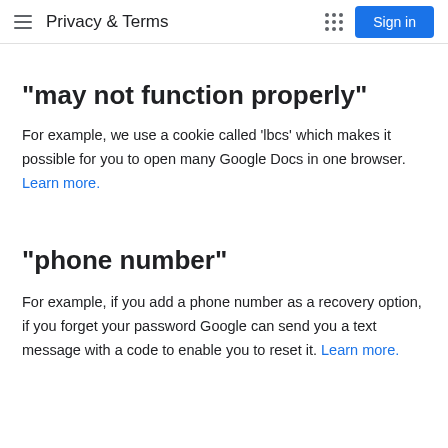Privacy & Terms
"may not function properly"
For example, we use a cookie called ‘lbcs’ which makes it possible for you to open many Google Docs in one browser. Learn more.
"phone number"
For example, if you add a phone number as a recovery option, if you forget your password Google can send you a text message with a code to enable you to reset it. Learn more.